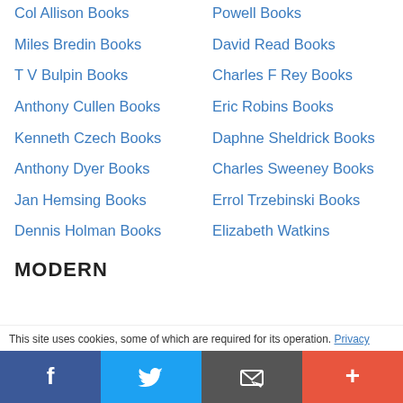Col Allison Books
Powell Books
Miles Bredin Books
David Read Books
T V Bulpin Books
Charles F Rey Books
Anthony Cullen Books
Eric Robins Books
Kenneth Czech Books
Daphne Sheldrick Books
Anthony Dyer Books
Charles Sweeney Books
Jan Hemsing Books
Errol Trzebinski Books
Dennis Holman Books
Elizabeth Watkins
MODERN
This site uses cookies, some of which are required for its operation. Privacy